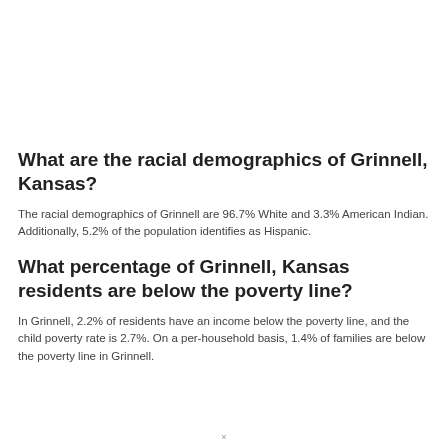What are the racial demographics of Grinnell, Kansas?
The racial demographics of Grinnell are 96.7% White and 3.3% American Indian. Additionally, 5.2% of the population identifies as Hispanic.
What percentage of Grinnell, Kansas residents are below the poverty line?
In Grinnell, 2.2% of residents have an income below the poverty line, and the child poverty rate is 2.7%. On a per-household basis, 1.4% of families are below the poverty line in Grinnell.
×